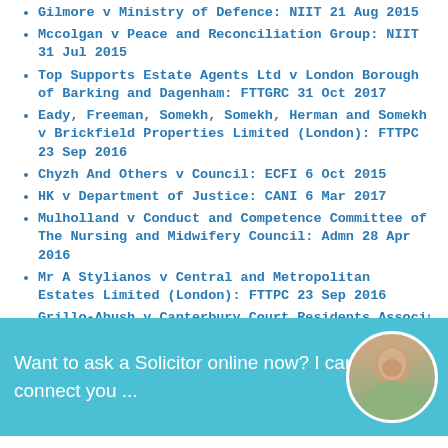Gilmore v Ministry of Defence: NIIT 21 Aug 2015
Mccolgan v Peace and Reconciliation Group: NIIT 31 Jul 2015
Top Supports Estate Agents Ltd v London Borough of Barking and Dagenham: FTTGRC 31 Oct 2017
Eady, Freeman, Somekh, Somekh, Herman and Somekh v Brickfield Properties Limited (London): FTTPC 23 Sep 2016
Chyzh And Others v Council: ECFI 6 Oct 2015
HK v Department of Justice: CANI 6 Mar 2017
Mulholland v Conduct and Competence Committee of The Nursing and Midwifery Council: Admn 28 Apr 2016
Mr A Stylianos v Central and Metropolitan Estates Limited (London): FTTPC 23 Sep 2016
Grillo-Abush v Canterbury Court Residents Association...
[Figure (photo): Promotional overlay banner with chat solicitor prompt and circular avatar photo of a woman smiling, background is teal/cyan color]